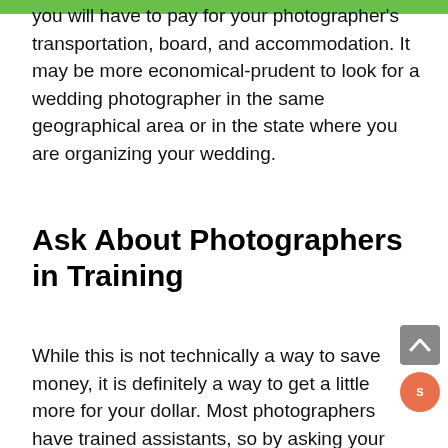you will have to pay for your photographer's transportation, board, and accommodation. It may be more economical-prudent to look for a wedding photographer in the same geographical area or in the state where you are organizing your wedding.
Ask About Photographers in Training
While this is not technically a way to save money, it is definitely a way to get a little more for your dollar. Most photographers have trained assistants, so by asking your photographer if you can bring one of them along, you can capture some more great moments. It's two photographers for one